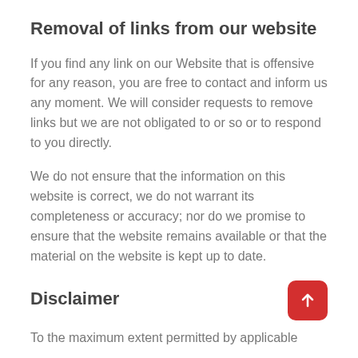Removal of links from our website
If you find any link on our Website that is offensive for any reason, you are free to contact and inform us any moment. We will consider requests to remove links but we are not obligated to or so or to respond to you directly.
We do not ensure that the information on this website is correct, we do not warrant its completeness or accuracy; nor do we promise to ensure that the website remains available or that the material on the website is kept up to date.
Disclaimer
To the maximum extent permitted by applicable